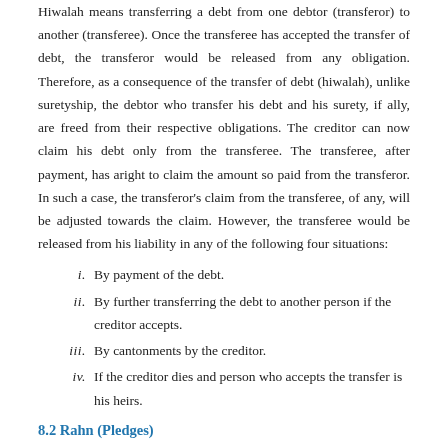Hiwalah means transferring a debt from one debtor (transferor) to another (transferee). Once the transferee has accepted the transfer of debt, the transferor would be released from any obligation. Therefore, as a consequence of the transfer of debt (hiwalah), unlike suretyship, the debtor who transfer his debt and his surety, if ally, are freed from their respective obligations. The creditor can now claim his debt only from the transferee. The transferee, after payment, has aright to claim the amount so paid from the transferor. In such a case, the transferor's claim from the transferee, of any, will be adjusted towards the claim. However, the transferee would be released from his liability in any of the following four situations:
i. By payment of the debt.
ii. By further transferring the debt to another person if the creditor accepts.
iii. By cantonments by the creditor.
iv. If the creditor dies and person who accepts the transfer is his heirs.
8.2 Rahn (Pledges)
A creditor, whether an individual or a financial institution, prefers